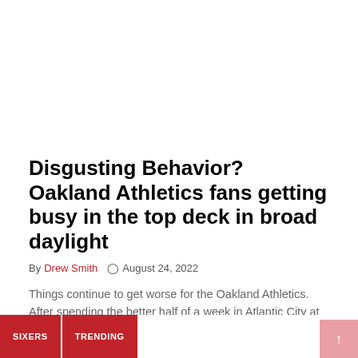Disgusting Behavior? Oakland Athletics fans getting busy in the top deck in broad daylight
By Drew Smith  © August 24, 2022
Things continue to get worse for the Oakland Athletics. After spending the better half of a week in Atlantic City at the Borgata/Premier Nightclub ...
Read More
SIXERS  TRENDING